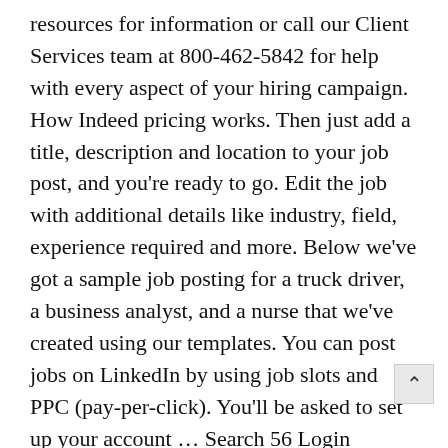resources for information or call our Client Services team at 800-462-5842 for help with every aspect of your hiring campaign. How Indeed pricing works. Then just add a title, description and location to your job post, and you're ready to go. Edit the job with additional details like industry, field, experience required and more. Below we've got a sample job posting for a truck driver, a business analyst, and a nurse that we've created using our templates. You can post jobs on LinkedIn by using job slots and PPC (pay-per-click). You'll be asked to set up your account … Search 56 Login Account jobs now available on Indeed.com, the world's largest job site. Click continue after each section of your resume is manually input until it is complete. Even a child could post on Indeed. When you're ready, we'll help you create your post by asking you simple, step-by-step questions. Company Reviews. Accountant, Account Manager, Office Secretary and mor You only pay for the performance of your Sponsored Job and